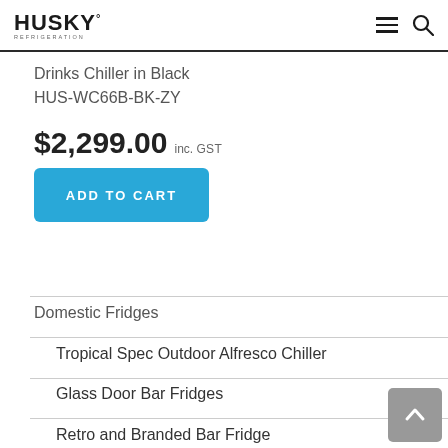HUSKY Refrigeration
Drinks Chiller in Black
HUS-WC66B-BK-ZY
$2,299.00 inc. GST
ADD TO CART
Domestic Fridges
Tropical Spec Outdoor Alfresco Chiller
Glass Door Bar Fridges
Retro and Branded Bar Fridge